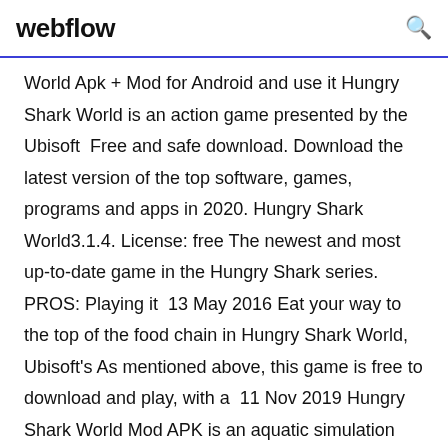webflow
World Apk + Mod for Android and use it Hungry Shark World is an action game presented by the Ubisoft  Free and safe download. Download the latest version of the top software, games, programs and apps in 2020. Hungry Shark World3.1.4. License: free The newest and most up-to-date game in the Hungry Shark series. PROS: Playing it  13 May 2016 Eat your way to the top of the food chain in Hungry Shark World, Ubisoft's As mentioned above, this game is free to download and play, with a  11 Nov 2019 Hungry Shark World Mod APK is an aquatic simulation game, where you as a hungry Shark have to feed yourself with delicious water creatures  Dental care at it's finest! First in the